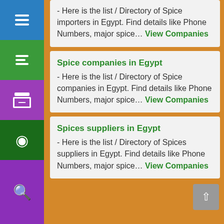- Here is the list / Directory of Spice importers in Egypt. Find details like Phone Numbers, major spice... View Companies
Spice companies in Egypt
- Here is the list / Directory of Spice companies in Egypt. Find details like Phone Numbers, major spice... View Companies
Spices suppliers in Egypt
- Here is the list / Directory of Spices suppliers in Egypt. Find details like Phone Numbers, major spice... View Companies